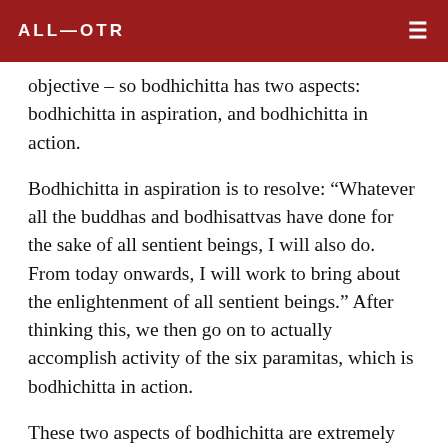ALL—OTR
objective – so bodhichitta has two aspects: bodhichitta in aspiration, and bodhichitta in action.
Bodhichitta in aspiration is to resolve: “Whatever all the buddhas and bodhisattvas have done for the sake of all sentient beings, I will also do. From today onwards, I will work to bring about the enlightenment of all sentient beings.” After thinking this, we then go on to actually accomplish activity of the six paramitas, which is bodhichitta in action.
These two aspects of bodhichitta are extremely important. Bodhichitta is the awakening of something in